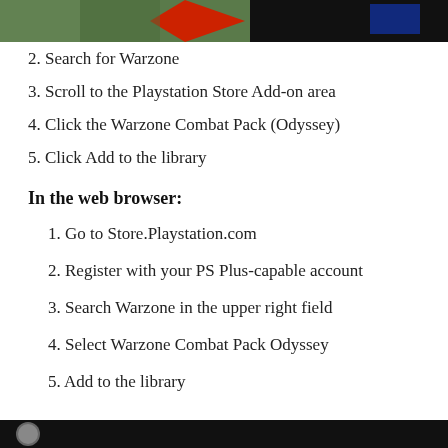[Figure (photo): Partial screenshot/photo of Warzone game with red arrow graphic and dark background]
2. Search for Warzone
3. Scroll to the Playstation Store Add-on area
4. Click the Warzone Combat Pack (Odyssey)
5. Click Add to the library
In the web browser:
1. Go to Store.Playstation.com
2. Register with your PS Plus-capable account
3. Search Warzone in the upper right field
4. Select Warzone Combat Pack Odyssey
5. Add to the library
[Figure (photo): Partial photo at bottom of page, dark background with partial face/head visible]